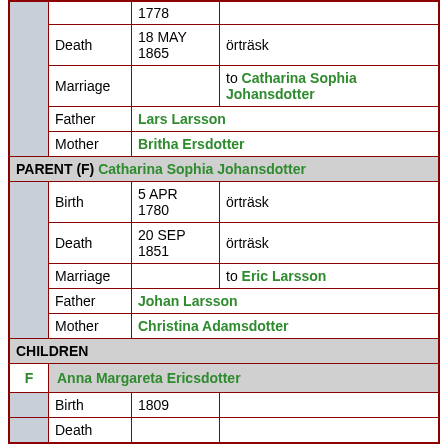| Death | 18 MAY 1865 | örträsk |
| Marriage |  | to Catharina Sophia Johansdotter |
| Father |  | Lars Larsson |
| Mother |  | Britha Ersdotter |
| PARENT (F) Catharina Sophia Johansdotter |
| Birth | 5 APR 1780 | örträsk |
| Death | 20 SEP 1851 | örträsk |
| Marriage |  | to Eric Larsson |
| Father |  | Johan Larsson |
| Mother |  | Christina Adamsdotter |
| CHILDREN |
| F | Anna Margareta Ericsdotter |
| Birth | 1809 |  |
| Death |  |  |